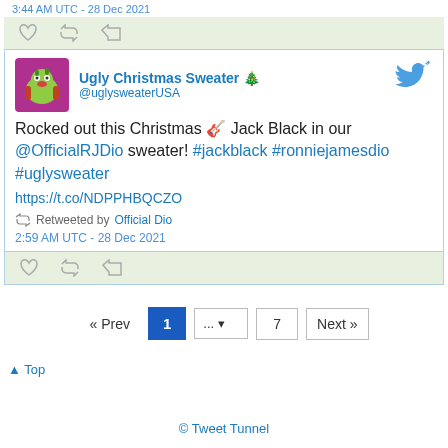3:44 AM UTC - 28 Dec 2021
[Figure (screenshot): Tweet action bar with reply, retweet, and like icons on light green background]
Ugly Christmas Sweater 🎄 @uglysweaterUSA
Rocked out this Christmas 🎸 Jack Black in our @OfficialRJDio sweater! #jackblack #ronniejamesdio #uglysweater https://t.co/NDPPHBQCZO
Retweeted by Official Dio
2:59 AM UTC - 28 Dec 2021
[Figure (screenshot): Tweet action bar with reply, retweet, and like icons on light green background]
« Prev  1  ...  7  Next »
▲ Top
© Tweet Tunnel